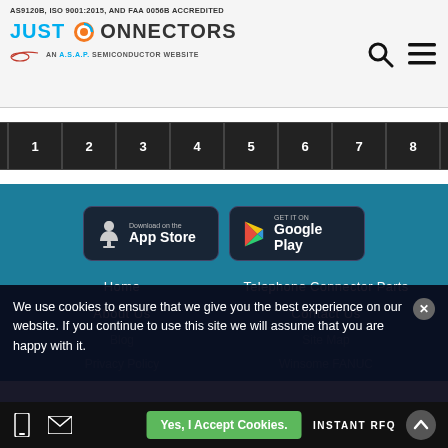AS9120B, ISO 9001:2015, AND FAA 0056B ACCREDITED
[Figure (logo): Just Connectors logo - an ASAP Semiconductor website]
« 1 2 3 4 5 6 7 8 »
[Figure (illustration): Download on the App Store button]
[Figure (illustration): Get it on Google Play button]
Home
Telephone Connector Parts
About Us
Contact Us
We use cookies to ensure that we give you the best experience on our website. If you continue to use this site we will assume that you are happy with it.
Yes, I Accept Cookies.
INSTANT RFQ